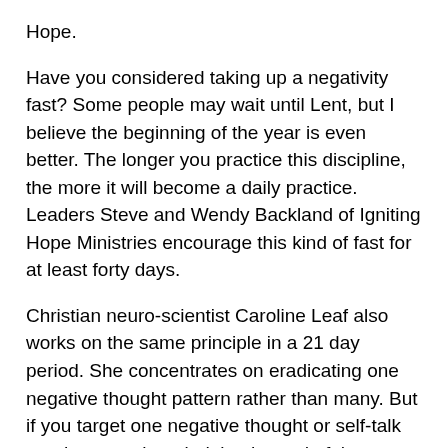Hope.
Have you considered taking up a negativity fast? Some people may wait until Lent, but I believe the beginning of the year is even better.  The longer you practice this discipline, the more it will become a daily practice.  Leaders Steve and Wendy Backland of Igniting Hope Ministries encourage this kind of fast for at least forty days.
Christian neuro-scientist Caroline Leaf also works on the same principle in a 21 day period. She concentrates on eradicating one negative thought pattern rather than many.  But if you target one negative thought or self-talk per three week period, by the end of the year, you will be free of old lies that you have believed.  You will be a much happier person!